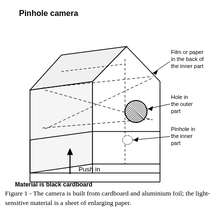[Figure (schematic): Diagram of a pinhole camera made from black cardboard. Shows a box-like structure with a pentagonal/house-shaped cross-section from a 3D perspective. Labels indicate: 'Pinhole camera' (title, top-left), 'Film or paper in the back of the inner part' (top-right, with arrow), 'Hole in the outer part' (right, with arrow to hatched circle), 'Pinhole in the inner part' (right-lower, with arrow to small dashed circle), 'Push in' (bottom, with upward arrow), 'Material is black cardboard' (bottom-left, bold).]
Figure 1 - The camera is built from cardboard and aluminium foil; the light-sensitive material is a sheet of enlarging paper.